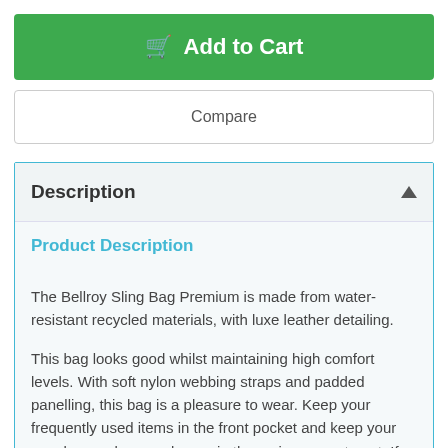Add to Cart
Compare
Description
Product Description
The Bellroy Sling Bag Premium is made from water-resistant recycled materials, with luxe leather detailing.
This bag looks good whilst maintaining high comfort levels. With soft nylon webbing straps and padded panelling, this bag is a pleasure to wear. Keep your frequently used items in the front pocket and keep your sunglasses, keys and more in the main compartment. If you are in a hurry, you will love the magnetic